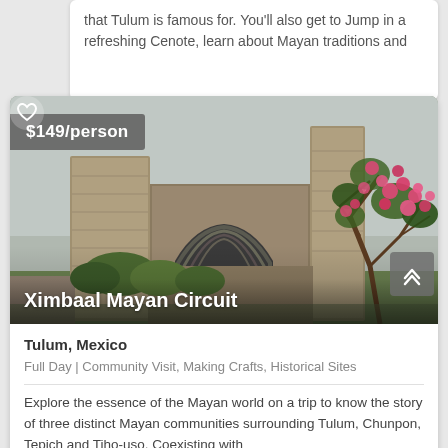that Tulum is famous for. You'll also get to Jump in a refreshing Cenote, learn about Mayan traditions and
[Figure (photo): Ruins of Ximbaal Mayan Circuit — ancient stone walls and arched structure with pink flowering bougainvillea tree in foreground, overcast sky]
$149/person
Ximbaal Mayan Circuit
Tulum, Mexico
Full Day | Community Visit, Making Crafts, Historical Sites
Explore the essence of the Mayan world on a trip to know the story of three distinct Mayan communities surrounding Tulum, Chunpon, Tepich and Tiho-uso. Coexisting with